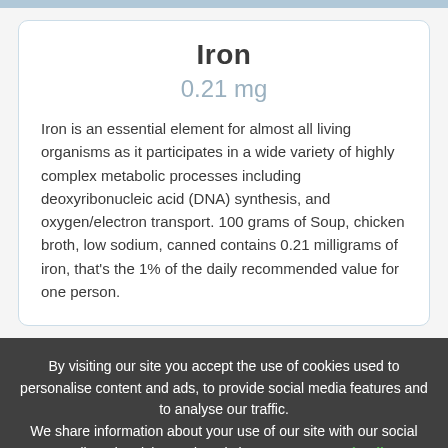Iron
0.21 mg
Iron is an essential element for almost all living organisms as it participates in a wide variety of highly complex metabolic processes including deoxyribonucleic acid (DNA) synthesis, and oxygen/electron transport. 100 grams of Soup, chicken broth, low sodium, canned contains 0.21 milligrams of iron, that's the 1% of the daily recommended value for one person.
By visiting our site you accept the use of cookies used to personalise content and ads, to provide social media features and to analyse our traffic. We share information about your use of our site with our social media, advertising and analytics partners. See details
I ACCEPT
An adequate intake of ... important to maintain normal body growth, co... ase balance, build...